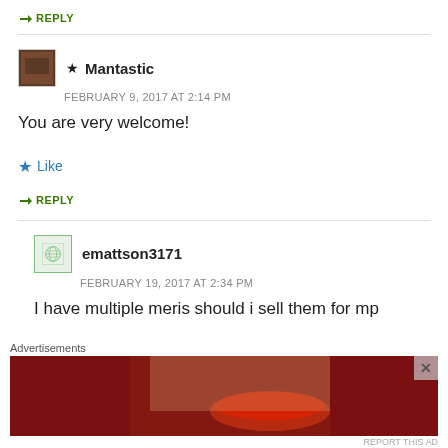↳ REPLY
★ Mantastic
FEBRUARY 9, 2017 AT 2:14 PM
You are very welcome!
★ Like
↳ REPLY
emattson3171
FEBRUARY 19, 2017 AT 2:34 PM
I have multiple meris should i sell them for mp
[Figure (photo): Macy's advertisement banner: KISS BORING LIPS GOODBYE with SHOP NOW button and Macy's logo on dark red background with model photo]